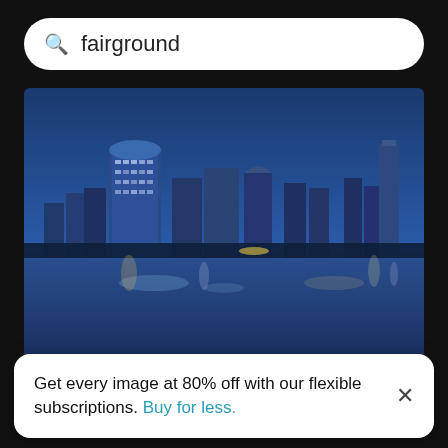fairground
[Figure (photo): Night cityscape with illuminated skyscrapers reflected in water against a blue sky]
Illuminated buildings in city against blue sky
Get every image at 80% off with our flexible subscriptions. Buy for less.